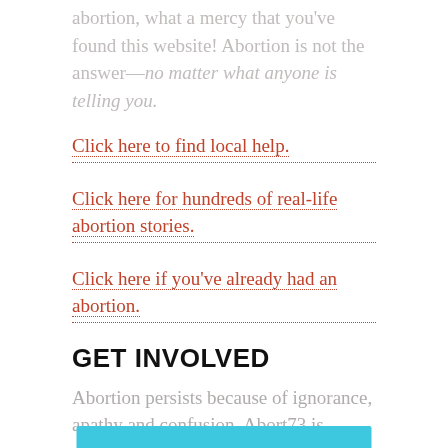abortion, what a mercy that you've found this website! Abortion is not the answer—no matter what anyone is telling you.
Click here to find local help.
Click here for hundreds of real-life abortion stories.
Click here if you've already had an abortion.
GET INVOLVED
Abortion persists because of ignorance, apathy and confusion. Abort73 is working to change that; you can help! Get started below: